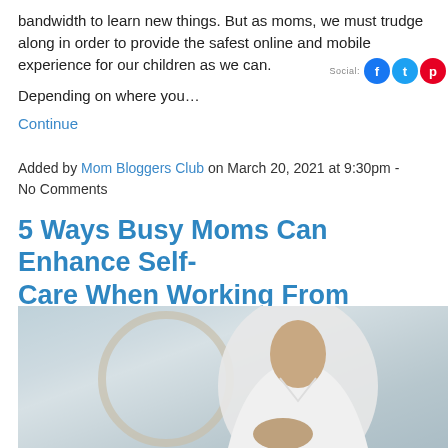bandwidth to learn new things. But as moms, we must trudge along in order to provide the safest online and mobile experience for our children as we can.
Depending on where you…
Continue
Added by Mom Bloggers Club on March 20, 2021 at 9:30pm - No Comments
5 Ways Busy Moms Can Enhance Self-Care When Working From Home
[Figure (photo): A woman in a white shirt sitting in a relaxed pose, with a circular mirror visible in the background. The image has a light, airy feel.]